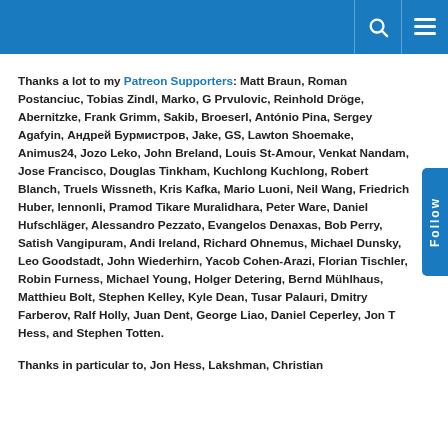Thanks a lot to my Patreon Supporters: Matt Braun, Roman Postanciuc, Tobias Zindl, Marko, G Prvulovic, Reinhold Dröge, Abernitzke, Frank Grimm, Sakib, Broeserl, António Pina, Sergey Agafyin, Андрей Бурмистров, Jake, GS, Lawton Shoemake, Animus24, Jozo Leko, John Breland, Louis St-Amour, Venkat Nandam, Jose Francisco, Douglas Tinkham, Kuchlong Kuchlong, Robert Blanch, Truels Wissneth, Kris Kafka, Mario Luoni, Neil Wang, Friedrich Huber, lennonli, Pramod Tikare Muralidhara, Peter Ware, Daniel Hufschläger, Alessandro Pezzato, Evangelos Denaxas, Bob Perry, Satish Vangipuram, Andi Ireland, Richard Ohnemus, Michael Dunsky, Leo Goodstadt, John Wiederhirn, Yacob Cohen-Arazi, Florian Tischler, Robin Furness, Michael Young, Holger Detering, Bernd Mühlhaus, Matthieu Bolt, Stephen Kelley, Kyle Dean, Tusar Palauri, Dmitry Farberov, Ralf Holly, Juan Dent, George Liao, Daniel Ceperley, Jon T Hess, and Stephen Totten.
Thanks in particular to, Jon Hess, Lakshman, Christian